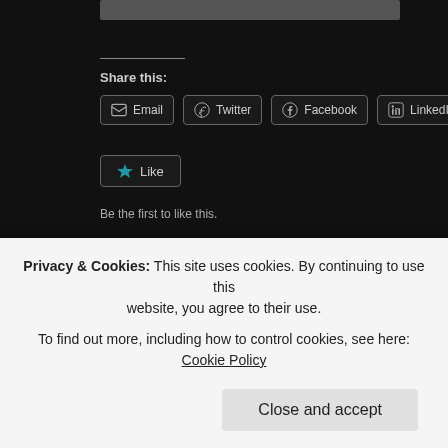Share this:
[Figure (screenshot): Share buttons: Email, Twitter, Facebook, LinkedIn]
[Figure (screenshot): Like button with star icon]
Be the first to like this.
2 Comments »
Sheehan Publishes Two Op-Eds on U.S. Policy Middle East
Posted in 9-11, @BPC_Bipartisan, @DHSgov, @HouseGOP, @POTUS, @realDon… @RepublicanStudy, @Senate_GOP, @TheIranDeal, academic freedom, advisory b…
Privacy & Cookies: This site uses cookies. By continuing to use this website, you agree to their use. To find out more, including how to control cookies, see here: Cookie Policy
Close and accept